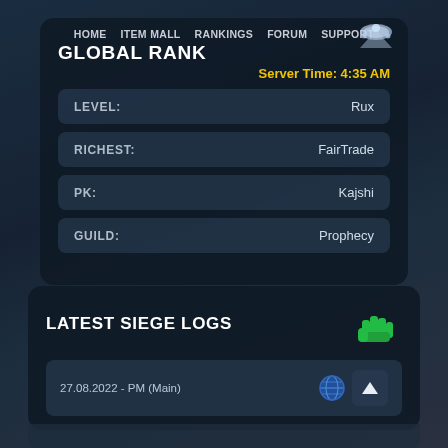HOME  ITEM MALL  RANKINGS  FORUM  SUPPORT
GLOBAL RANK
Server Time: 4:35 AM
| Category | Value |
| --- | --- |
| LEVEL: | Rux |
| RICHEST: | FairTrade |
| PK: | Kajshi |
| GUILD: | Prophecy |
LATEST SIEGE LOGS
27.08.2022 - PM (Main)